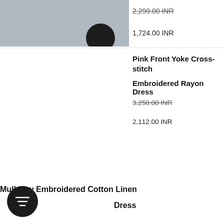[Figure (photo): Partial product image showing top of a model's head, grey/silver background, cropped at top of page]
2,299.00 INR (strikethrough)
1,724.00 INR
Pink Front Yoke Cross-stitch
Embroidered Rayon Dress
3,250.00 INR (strikethrough)
2,112.00 INR
Mulberry Embroidered Cotton Linen Dress
[Figure (illustration): Circular dark filter/funnel icon button]